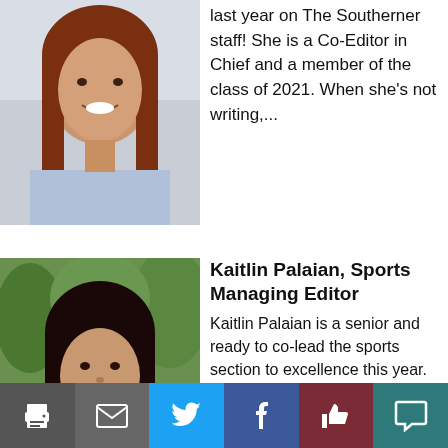[Figure (photo): Smiling young woman with long brown hair wearing a light blue long-sleeve top, partial view from top of page]
last year on The Southerner staff! She is a Co-Editor in Chief and a member of the class of 2021. When she’s not writing,...
[Figure (photo): Smiling young woman with long dark hair wearing an olive/sage green t-shirt, outdoors with trees in background]
Kaitlin Palaian, Sports Managing Editor
Kaitlin Palaian is a senior and ready to co-lead the sports section to excellence this year. She is excited to be on staff again this year and share what...
Tweets from @thesoutherner